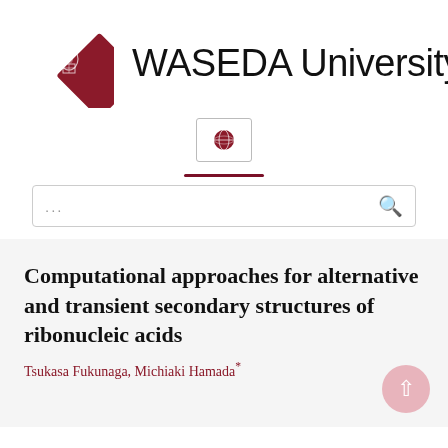[Figure (logo): Waseda University logo: red diamond shape with crest inside, followed by text 'WASEDA University']
[Figure (other): Globe/world icon in a small bordered box]
[Figure (other): Dark red horizontal divider line]
[Figure (other): Search bar with ellipsis placeholder and magnifying glass icon]
Computational approaches for alternative and transient secondary structures of ribonucleic acids
Tsukasa Fukunaga, Michiaki Hamada*